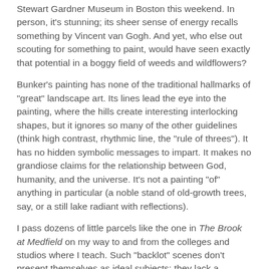Stewart Gardner Museum in Boston this weekend. In person, it's stunning; its sheer sense of energy recalls something by Vincent van Gogh. And yet, who else out scouting for something to paint, would have seen exactly that potential in a boggy field of weeds and wildflowers?
Bunker's painting has none of the traditional hallmarks of "great" landscape art. Its lines lead the eye into the painting, where the hills create interesting interlocking shapes, but it ignores so many of the other guidelines (think high contrast, rhythmic line, the "rule of threes"). It has no hidden symbolic messages to impart. It makes no grandiose claims for the relationship between God, humanity, and the universe. It's not a painting "of" anything in particular (a noble stand of old-growth trees, say, or a still lake radiant with reflections).
I pass dozens of little parcels like the one in The Brook at Medfield on my way to and from the colleges and studios where I teach. Such "backlot" scenes don't present themselves as ideal subjects; they lack a dialectic of dominant and sub-dominant forms and a strong single point of interest.